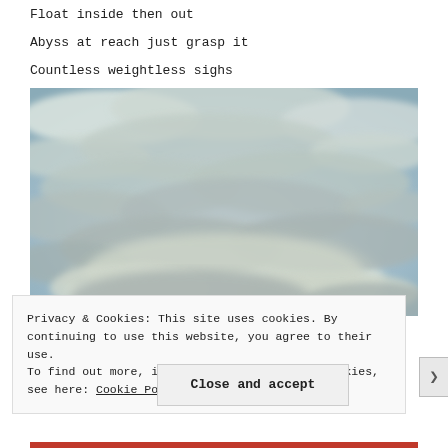Float inside then out
Abyss at reach just grasp it
Countless weightless sighs
[Figure (photo): Photograph of a sky covered with wispy white and grey clouds against a light blue background, taken from below looking upward.]
Privacy & Cookies: This site uses cookies. By continuing to use this website, you agree to their use.
To find out more, including how to control cookies, see here: Cookie Policy
Close and accept